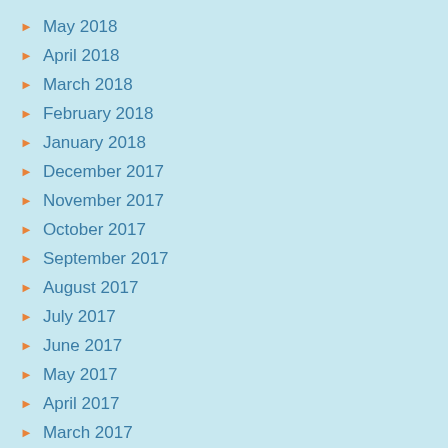May 2018
April 2018
March 2018
February 2018
January 2018
December 2017
November 2017
October 2017
September 2017
August 2017
July 2017
June 2017
May 2017
April 2017
March 2017